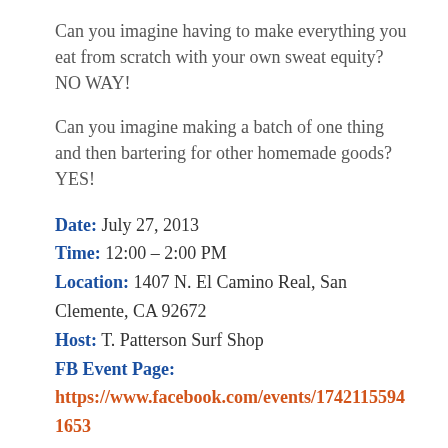Can you imagine having to make everything you eat from scratch with your own sweat equity?  NO WAY!
Can you imagine making a batch of one thing and then bartering for other homemade goods? YES!
Date: July 27, 2013
Time: 12:00 – 2:00 PM
Location: 1407 N. El Camino Real, San Clemente, CA 92672
Host: T. Patterson Surf Shop
FB Event Page:
https://www.facebook.com/events/174211559416538/
The idea is to batch a good or forage if you have a garden and bring to the swap to barter with fellow community members!  Imagine bartering some homemade pizza dough from a neighbour for some